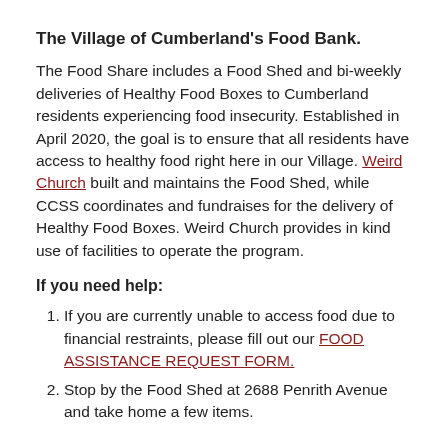The Village of Cumberland's Food Bank.
The Food Share includes a Food Shed and bi-weekly deliveries of Healthy Food Boxes to Cumberland residents experiencing food insecurity. Established in April 2020, the goal is to ensure that all residents have access to healthy food right here in our Village. Weird Church built and maintains the Food Shed, while CCSS coordinates and fundraises for the delivery of Healthy Food Boxes. Weird Church provides in kind use of facilities to operate the program.
If you need help:
If you are currently unable to access food due to financial restraints, please fill out our FOOD ASSISTANCE REQUEST FORM.
Stop by the Food Shed at 2688 Penrith Avenue and take home a few items.